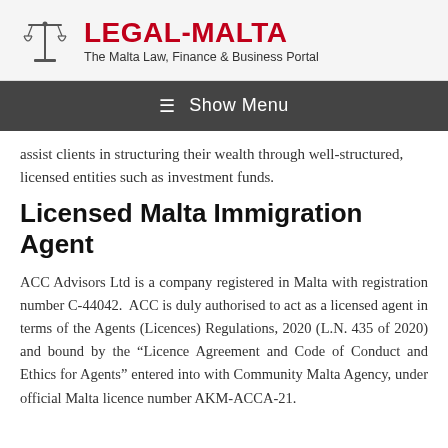LEGAL-MALTA — The Malta Law, Finance & Business Portal
≡ Show Menu
assist clients in structuring their wealth through well-structured, licensed entities such as investment funds.
Licensed Malta Immigration Agent
ACC Advisors Ltd is a company registered in Malta with registration number C-44042.  ACC is duly authorised to act as a licensed agent in terms of the Agents (Licences) Regulations, 2020 (L.N. 435 of 2020) and bound by the "Licence Agreement and Code of Conduct and Ethics for Agents" entered into with Community Malta Agency, under official Malta licence number AKM-ACCA-21.